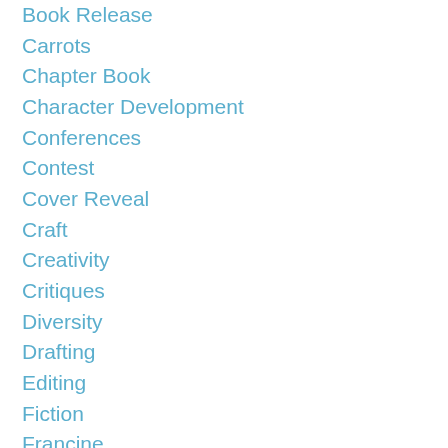Book Release
Carrots
Chapter Book
Character Development
Conferences
Contest
Cover Reveal
Craft
Creativity
Critiques
Diversity
Drafting
Editing
Fiction
Francine
Graphic Novel
Guest Posts
Holiday Wishes
Hook
Illustration
Inspirational